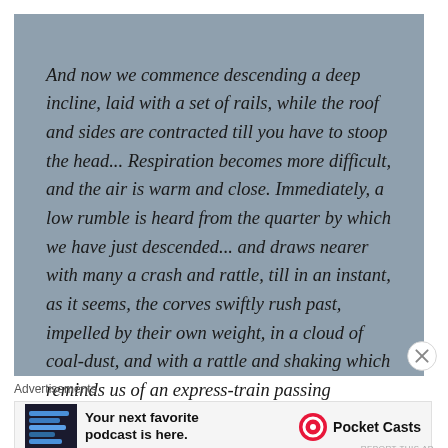And now we commence descending a deep incline, laid with a set of rails, while the roof and sides are contracted till you have to stoop the head... Respiration becomes more difficult, and the air is warm and close. Immediately, a low rumble is heard from the quarter by which we have just descended... and draws nearer with many a crash and rattle, till in an instant, as it seems, the corves swiftly rush past, impelled by their own weight, in a cloud of coal-dust, and with a rattle and shaking which reminds us of an express-train passing through a small country-
Advertisements
[Figure (infographic): Advertisement for Pocket Casts podcast app. Shows app screenshot on dark background on left, bold text 'Your next favorite podcast is here.' in middle, and Pocket Casts logo with text on right.]